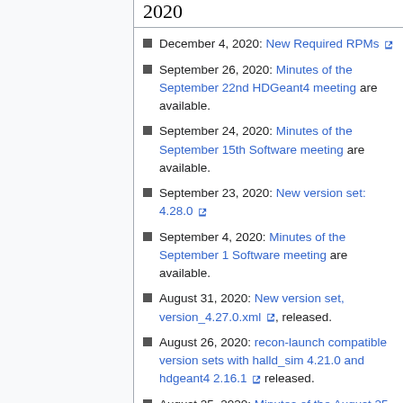2020
December 4, 2020: New Required RPMs [external link]
September 26, 2020: Minutes of the September 22nd HDGeant4 meeting are available.
September 24, 2020: Minutes of the September 15th Software meeting are available.
September 23, 2020: New version set: 4.28.0 [external link]
September 4, 2020: Minutes of the September 1 Software meeting are available.
August 31, 2020: New version set, version_4.27.0.xml [external link], released.
August 26, 2020: recon-launch compatible version sets with halld_sim 4.21.0 and hdgeant4 2.16.1 [external link] released.
August 25, 2020: Minutes of the August 25 HDGeant4 meeting are available.
August 25, 2020: New version set, 4.25.0 [external link], released.
August 24, 2020: version.xml files have